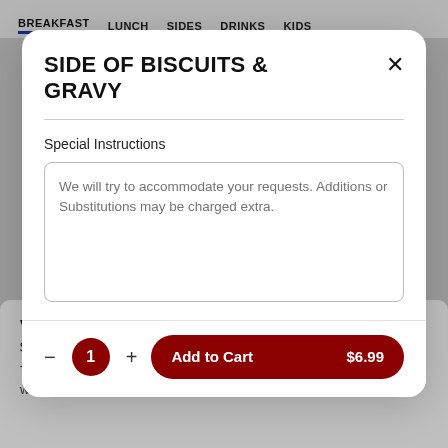BREAKFAST   LUNCH   SIDES   DRINKS   KIDS
SIDE OF BISCUITS & GRAVY
Special Instructions
We will try to accommodate your requests. Additions or Substitutions may be charged extra.
— 1 +   Add to Cart   $6.99
VEGGIE OMELET
$11.99
Tomato, zucchini, yellow squash, spinach, and mushrooms. Served with breakfast potatoes or mixed greens and choice …